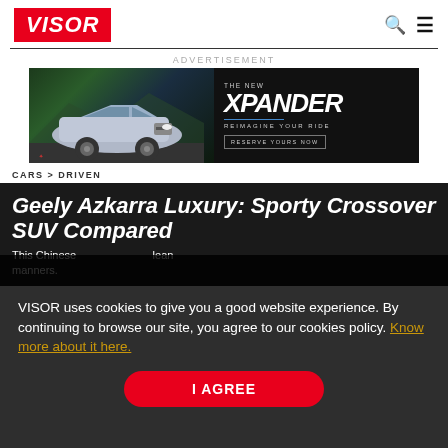VISOR
[Figure (illustration): Mitsubishi Xpander advertisement banner — dark background with silver Xpander SUV on left, 'THE NEW XPANDER / REIMAGINE YOUR RIDE / RESERVE YOURS NOW' text on right]
ADVERTISEMENT
CARS > DRIVEN
Geely Azkarra Luxury: Sporty Crossover SUV Compared
VISOR uses cookies to give you a good website experience. By continuing to browse our site, you agree to our cookies policy. Know more about it here.
This Chinese … lean manners.